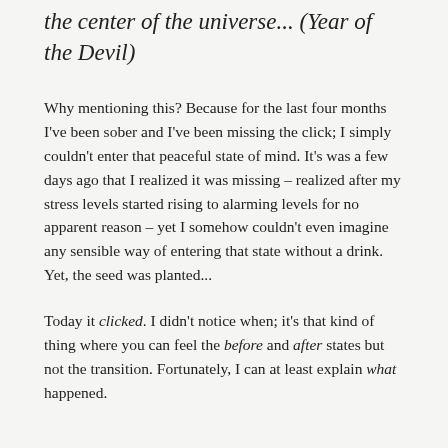the center of the universe... (Year of the Devil)
Why mentioning this? Because for the last four months I've been sober and I've been missing the click; I simply couldn't enter that peaceful state of mind. It's was a few days ago that I realized it was missing – realized after my stress levels started rising to alarming levels for no apparent reason – yet I somehow couldn't even imagine any sensible way of entering that state without a drink. Yet, the seed was planted...
Today it clicked. I didn't notice when; it's that kind of thing where you can feel the before and after states but not the transition. Fortunately, I can at least explain what happened.